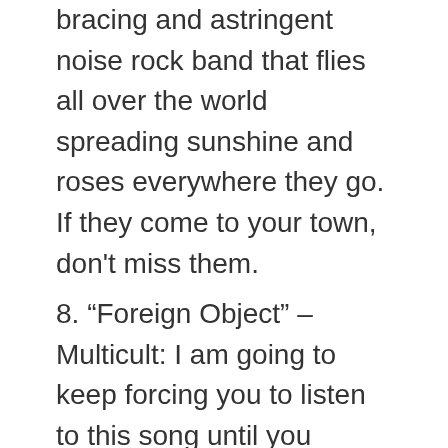bracing and astringent noise rock band that flies all over the world spreading sunshine and roses everywhere they go. If they come to your town, don't miss them.
8. “Foreign Object” – Multicult: I am going to keep forcing you to listen to this song until you realize that Jake Cregger is a genius drummer. What kind of bent mind comes up with a beat like this?
9. “Sycophant” – Powder Room: All of the interstitial music from the show comes from the first Powder Room album, ‘Curtains.’ Powder Room is a tragically underrated band, and I’m not just saying that because I played with them. Gene Woolfolk is a great guitarist, but more importantly, he writes